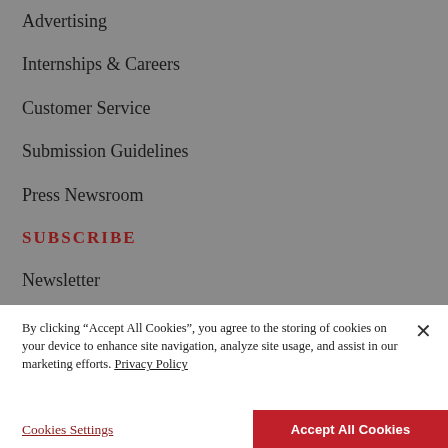Advertising
Internships & Careers
Customer Service
Submission Guidelines
Press Newsroom
SUBSCRIBE
Newsletter
Subscription Fraud Information
By clicking “Accept All Cookies”, you agree to the storing of cookies on your device to enhance site navigation, analyze site usage, and assist in our marketing efforts. Privacy Policy
Cookies Settings
Accept All Cookies